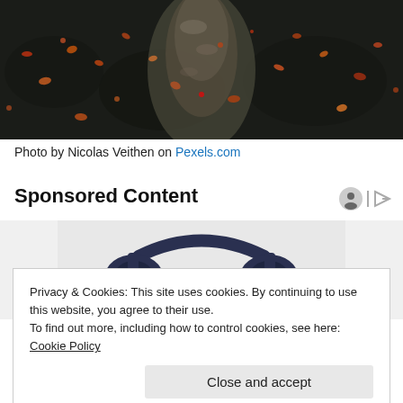[Figure (photo): Outdoor nature photo showing a wooded path or stream bed with autumn leaves (orange, red) scattered on dark rocky ground, with dappled light filtering through.]
Photo by Nicolas Veithen on Pexels.com
Sponsored Content
[Figure (photo): Partial image of over-ear headphones (dark blue/navy) visible behind a cookie consent banner.]
Privacy & Cookies: This site uses cookies. By continuing to use this website, you agree to their use.
To find out more, including how to control cookies, see here: Cookie Policy
Close and accept